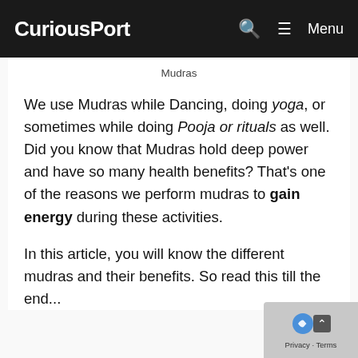CuriousPort  🔍  ≡ Menu
Mudras
We use Mudras while Dancing, doing yoga, or sometimes while doing Pooja or rituals as well. Did you know that Mudras hold deep power and have so many health benefits? That's one of the reasons we perform mudras to gain energy during these activities.
In this article, you will know the different mudras and their benefits. So read this till the end...